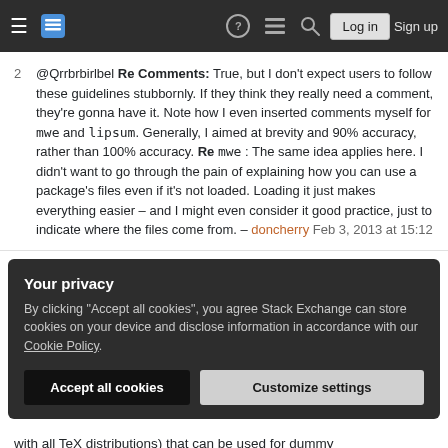Stack Exchange navigation bar with Log in and Sign up buttons
2  @Qrrbrbirlbel Re Comments: True, but I don't expect users to follow these guidelines stubbornly. If they think they really need a comment, they're gonna have it. Note how I even inserted comments myself for mwe and lipsum. Generally, I aimed at brevity and 90% accuracy, rather than 100% accuracy. Re mwe: The same idea applies here. I didn't want to go through the pain of explaining how you can use a package's files even if it's not loaded. Loading it just makes everything easier – and I might even consider it good practice, just to indicate where the files come from. – doncherry Feb 3, 2013 at 15:12
Your privacy
By clicking "Accept all cookies", you agree Stack Exchange can store cookies on your device and disclose information in accordance with our Cookie Policy.
[Accept all cookies] [Customize settings]
with all TeX distributions) that can be used for dummy